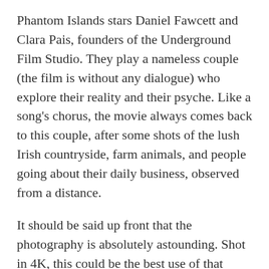Phantom Islands stars Daniel Fawcett and Clara Pais, founders of the Underground Film Studio. They play a nameless couple (the film is without any dialogue) who explore their reality and their psyche. Like a song's chorus, the movie always comes back to this couple, after some shots of the lush Irish countryside, farm animals, and people going about their daily business, observed from a distance.
It should be said up front that the photography is absolutely astounding. Shot in 4K, this could be the best use of that format I've yet seen. 4K has always seemed to me too real looking to serve the purposes...